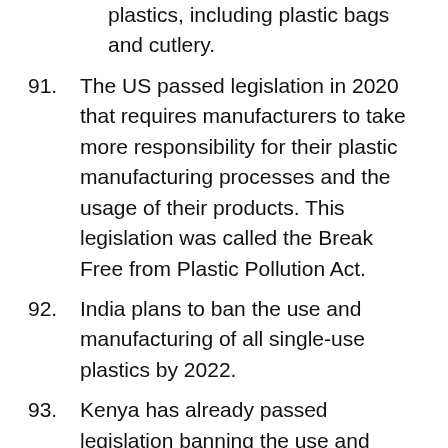plastics, including plastic bags and cutlery.
91. The US passed legislation in 2020 that requires manufacturers to take more responsibility for their plastic manufacturing processes and the usage of their products. This legislation was called the Break Free from Plastic Pollution Act.
92. India plans to ban the use and manufacturing of all single-use plastics by 2022.
93. Kenya has already passed legislation banning the use and manufacturing of all single-use plastic bags.
94. In 2014, California became the first state in the nation that banned the use of single-use plastic bags.
95. In 2019, Oregon followed suit by passing legislation that is still the most comprehensive plastic bag ban in the nation.
96. In 2015, the Ocean Conservancy’s 2015 Coastal